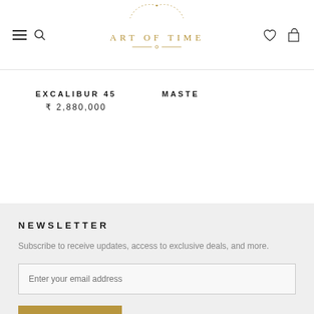Art of Time
EXCALIBUR 45
₹ 2,880,000
MASTE
NEWSLETTER
Subscribe to receive updates, access to exclusive deals, and more.
Enter your email address
SUBSCRIBE